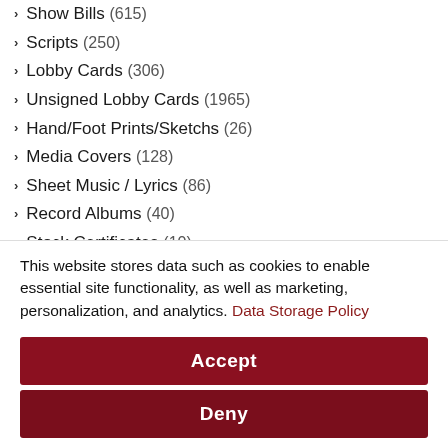Show Bills (615)
Scripts (250)
Lobby Cards (306)
Unsigned Lobby Cards (1965)
Hand/Foot Prints/Sketchs (26)
Media Covers (128)
Sheet Music / Lyrics (86)
Record Albums (40)
Stock Certificates (10)
Pick Guards (1)
Currency (8)
Guitars (2)
Tickets (118)
This website stores data such as cookies to enable essential site functionality, as well as marketing, personalization, and analytics. Data Storage Policy
Accept
Deny